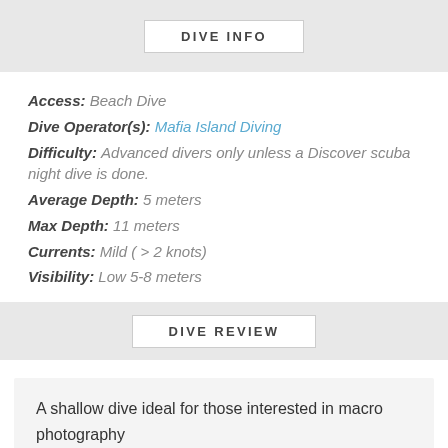DIVE INFO
Access: Beach Dive
Dive Operator(s): Mafia Island Diving
Difficulty: Advanced divers only unless a Discover scuba night dive is done.
Average Depth: 5 meters
Max Depth: 11 meters
Currents: Mild ( > 2 knots)
Visibility: Low 5-8 meters
DIVE REVIEW
A shallow dive ideal for those interested in macro photography